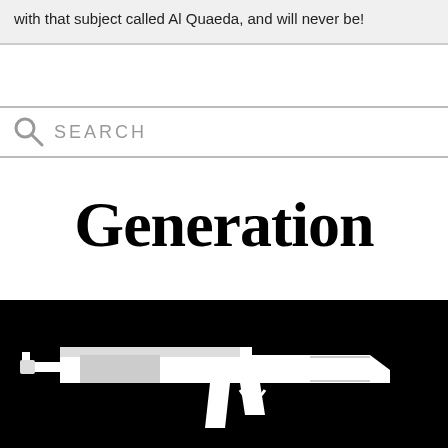with that subject called Al Quaeda, and will never be!
[Figure (other): Search bar with magnifying glass icon and SEARCH placeholder text]
Generation
[Figure (illustration): Black and white silhouette illustration of an assault rifle (AK-style) against a black background]